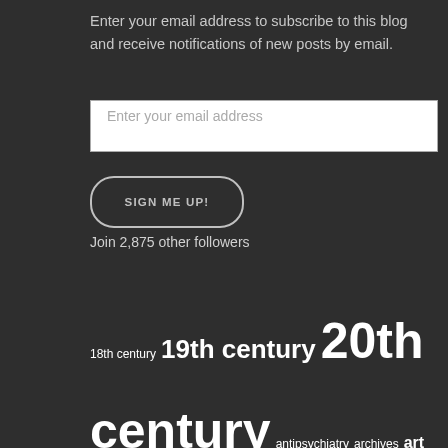Enter your email address to subscribe to this blog and receive notifications of new posts by email.
[Figure (other): Email input text field with placeholder text 'Enter your email address']
[Figure (other): Button labeled 'SIGN ME UP!' with rounded border]
Join 2,875 other followers
18th century 19th century 20th century antipsychiatry archives art art brut asylum asylums Australia Belgium brain Canada Cold War colonial psychiatry cultural history deinstitutionalization depression drugs DSM DSM-V